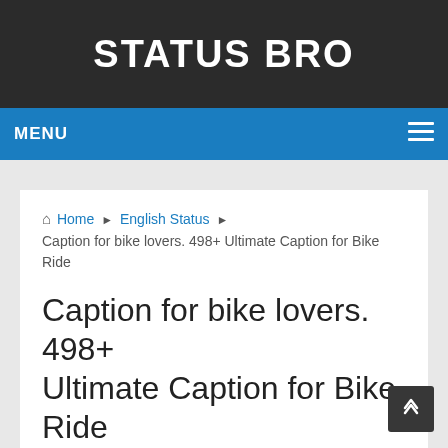STATUS BRO
MENU
Home ▶ English Status ▶ Caption for bike lovers. 498+ Ultimate Caption for Bike Ride
Caption for bike lovers. 498+ Ultimate Caption for Bike Ride
English Status